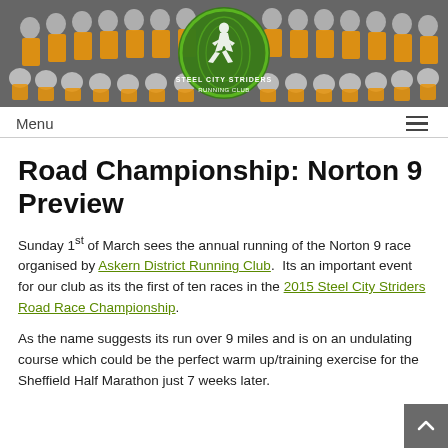[Figure (photo): Group photo of Steel City Striders Running Club members wearing yellow/orange running vests with race numbers, with the club's green circular logo overlaid in the center. Black and white background with colorized jerseys.]
Menu
Road Championship: Norton 9 Preview
Sunday 1st of March sees the annual running of the Norton 9 race organised by Askern District Running Club.  Its an important event for our club as its the first of ten races in the 2015 Steel City Striders Road Race Championship.
As the name suggests its run over 9 miles and is on an undulating course which could be the perfect warm up/training exercise for the Sheffield Half Marathon just 7 weeks later.